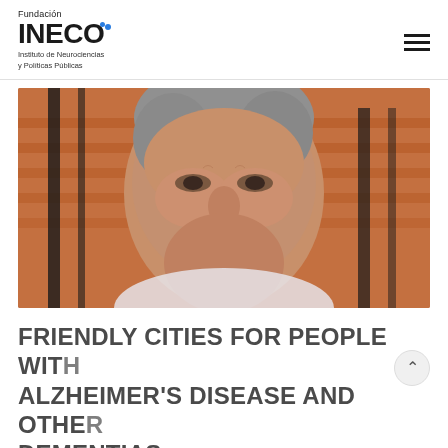Fundación INECO — Instituto de Neurociencias y Políticas Públicas
[Figure (photo): Close-up portrait of an elderly woman with grey hair, looking forward with a serious expression, seated in front of an orange chair with black metal frame.]
FRIENDLY CITIES FOR PEOPLE WITH ALZHEIMER'S DISEASE AND OTHER DEMENTIAS